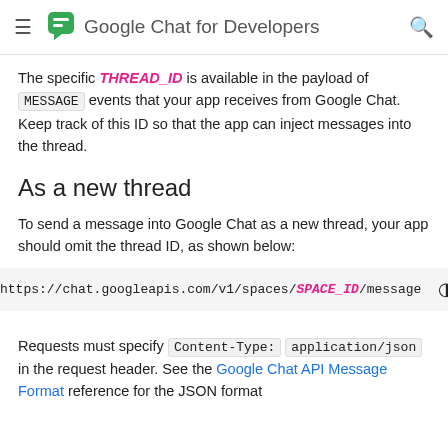Google Chat for Developers
The specific THREAD_ID is available in the payload of MESSAGE events that your app receives from Google Chat. Keep track of this ID so that the app can inject messages into the thread.
As a new thread
To send a message into Google Chat as a new thread, your app should omit the thread ID, as shown below:
[Figure (screenshot): Code block showing URL: https://chat.googleapis.com/v1/spaces/SPACE_ID/message with a theme toggle icon]
Requests must specify Content-Type: application/json in the request header. See the Google Chat API Message Format reference for the JSON format